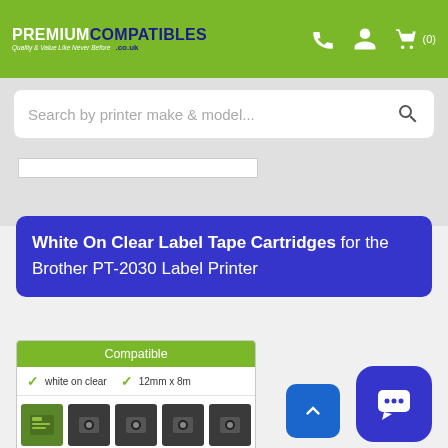PREMIUM COMPATIBLES .CO.UK — Quality & Value Like Never Before
Search by printer make & model...
White On Clear Label Tape Cartridges for the Brother PT-2030 Label Printer
Compatible
✓ white on clear   ✓ 12mm x 8m
[Figure (photo): Product image showing 5 label tape cartridges for Brother TZe-135, arranged in two rows]
✓ In Stock
Compatible Brother TZe-135 White On Clear 12mm x 8m Laminated P-Touch Label Tapes 5-Pack (TZE135)